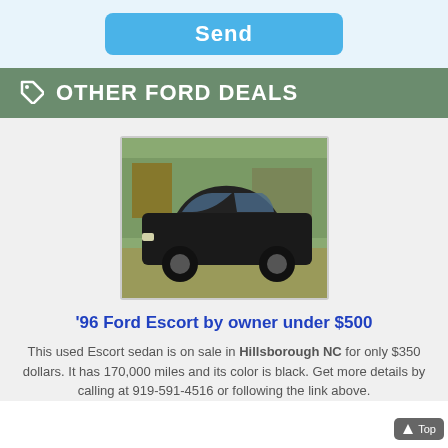[Figure (screenshot): Blue Send button on light blue background at top of page]
OTHER FORD DEALS
[Figure (photo): Photo of a dark black 1996 Ford Escort sedan parked outdoors]
'96 Ford Escort by owner under $500
This used Escort sedan is on sale in Hillsborough NC for only $350 dollars. It has 170,000 miles and its color is black. Get more details by calling at 919-591-4516 or following the link above.